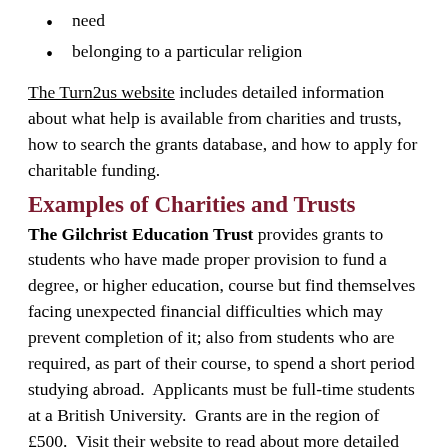need
belonging to a particular religion
The Turn2us website includes detailed information about what help is available from charities and trusts, how to search the grants database, and how to apply for charitable funding.
Examples of Charities and Trusts
The Gilchrist Education Trust provides grants to students who have made proper provision to fund a degree, or higher education, course but find themselves facing unexpected financial difficulties which may prevent completion of it; also from students who are required, as part of their course, to spend a short period studying abroad.  Applicants must be full-time students at a British University.  Grants are in the region of £500.  Visit their website to read about more detailed information abut